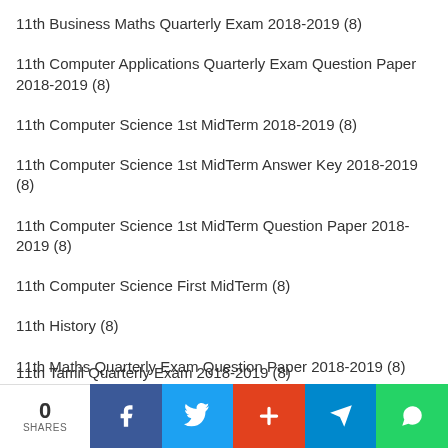11th Business Maths Quarterly Exam 2018-2019 (8)
11th Computer Applications Quarterly Exam Question Paper 2018-2019 (8)
11th Computer Science 1st MidTerm 2018-2019 (8)
11th Computer Science 1st MidTerm Answer Key 2018-2019 (8)
11th Computer Science 1st MidTerm Question Paper 2018-2019 (8)
11th Computer Science First MidTerm (8)
11th History (8)
11th Maths Quarterly Exam Question Paper 2018-2019 (8)
11th Physics Quarterly Question Paper 2019-2020 (8)
11th Tamil Quarterly Answer Keys 2019-2020 (8)
11th Tamil Quarterly Exam 2018-2019 (8)